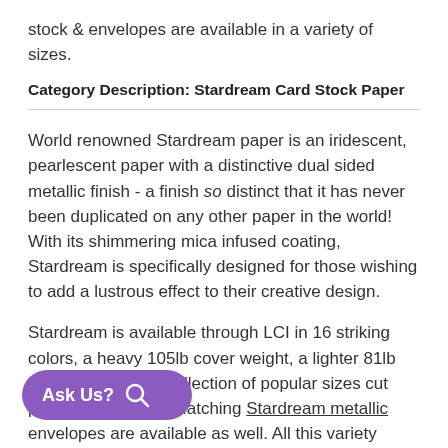stock & envelopes are available in a variety of sizes.
Category Description: Stardream Card Stock Paper
World renowned Stardream paper is an iridescent, pearlescent paper with a distinctive dual sided metallic finish - a finish so distinct that it has never been duplicated on any other paper in the world! With its shimmering mica infused coating, Stardream is specifically designed for those wishing to add a lustrous effect to their creative design.
Stardream is available through LCI in 16 striking colors, a heavy 105lb cover weight, a lighter 81lb text weight, and a collection of popular sizes cut perfectly for press. Matching Stardream metallic envelopes are available as well. All this variety gives endless creative possibilities - use for invitations, stationery, paper craft, gift wrap,